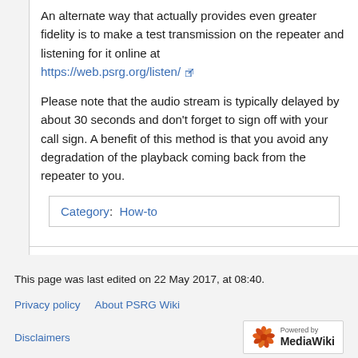An alternate way that actually provides even greater fidelity is to make a test transmission on the repeater and listening for it online at https://web.psrg.org/listen/
Please note that the audio stream is typically delayed by about 30 seconds and don't forget to sign off with your call sign. A benefit of this method is that you avoid any degradation of the playback coming back from the repeater to you.
Category: How-to
This page was last edited on 22 May 2017, at 08:40.
Privacy policy   About PSRG Wiki
Disclaimers